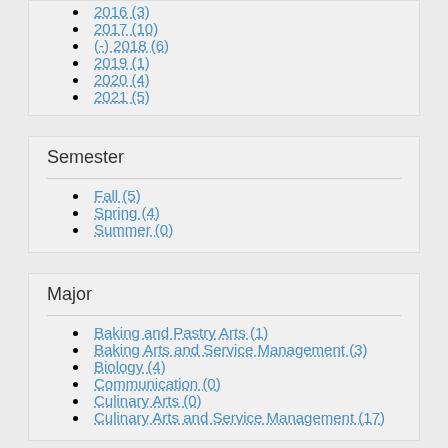2016 (3)
2017 (10)
(-) 2018 (6)
2019 (1)
2020 (4)
2021 (5)
Semester
Fall (5)
Spring (4)
Summer (0)
Major
Baking and Pastry Arts (1)
Baking Arts and Service Management (3)
Biology (4)
Communication (0)
Culinary Arts (0)
Culinary Arts and Service Management (17)